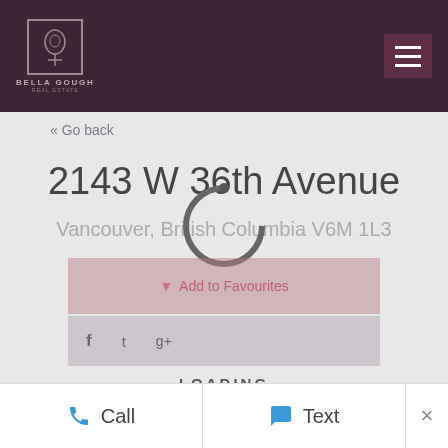Bella Gough Real Estate
« Go back
2143 W 36th Avenue
Vancouver, British Columbia V6M 1L3
[Figure (screenshot): Loading overlay with spinner circle, Add to Favourites button, social sharing icons (Facebook, Twitter, Google+), and LOADING text]
Call   Text